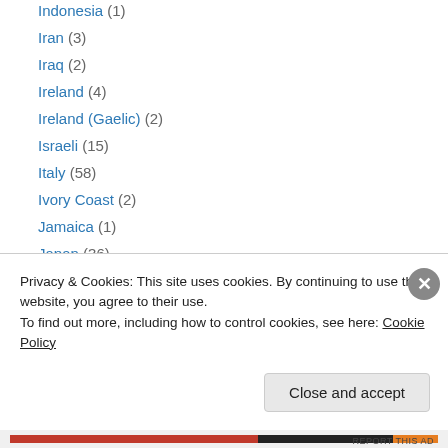Indonesia (1)
Iran (3)
Iraq (2)
Ireland (4)
Ireland (Gaelic) (2)
Israeli (15)
Italy (58)
Ivory Coast (2)
Jamaica (1)
Japan (36)
Kenya (2)
Korea (15)
Kyrgyzstan (1)
Latvia (1)
Privacy & Cookies: This site uses cookies. By continuing to use this website, you agree to their use. To find out more, including how to control cookies, see here: Cookie Policy
Close and accept